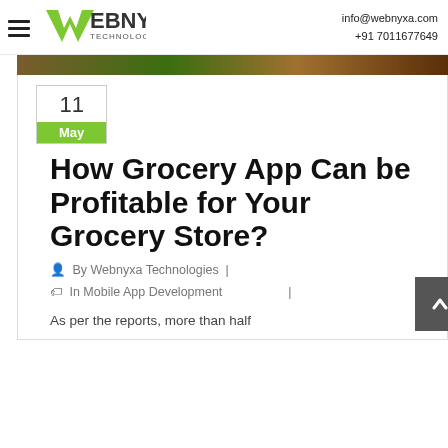info@webnyxa.com +91 7011677649
[Figure (logo): Webnyxa Technologies logo with green W and WEBNYXA TECHNOLOGIES text]
[Figure (photo): Partial grocery image strip at top of article card]
11
May
How Grocery App Can be Profitable for Your Grocery Store?
By Webnyxa Technologies | In Mobile App Development |
As per the reports, more than half